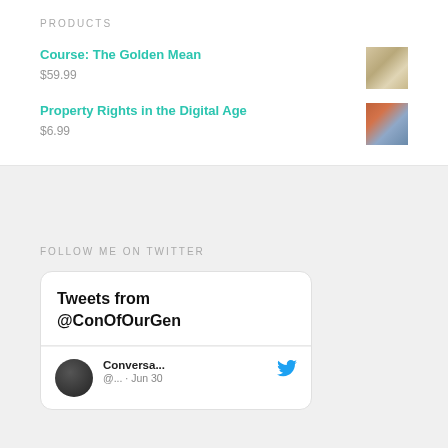PRODUCTS
Course: The Golden Mean
$59.99
Property Rights in the Digital Age
$6.99
FOLLOW ME ON TWITTER
Tweets from @ConOfOurGen
Conversa...
@... · Jun 30